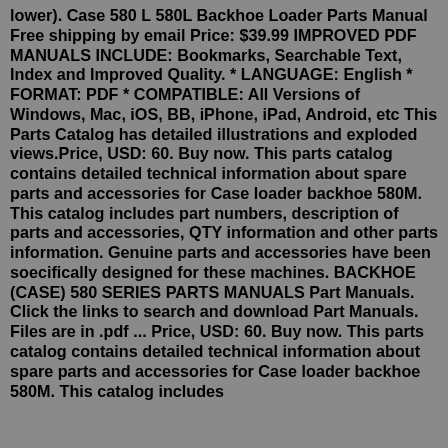lower). Case 580 L 580L Backhoe Loader Parts Manual Free shipping by email Price: $39.99 IMPROVED PDF MANUALS INCLUDE: Bookmarks, Searchable Text, Index and Improved Quality. * LANGUAGE: English * FORMAT: PDF * COMPATIBLE: All Versions of Windows, Mac, iOS, BB, iPhone, iPad, Android, etc This Parts Catalog has detailed illustrations and exploded views.Price, USD: 60. Buy now. This parts catalog contains detailed technical information about spare parts and accessories for Case loader backhoe 580M. This catalog includes part numbers, description of parts and accessories, QTY information and other parts information. Genuine parts and accessories have been soecifically designed for these machines. BACKHOE (CASE) 580 SERIES PARTS MANUALS Part Manuals. Click the links to search and download Part Manuals. Files are in .pdf ... Price, USD: 60. Buy now. This parts catalog contains detailed technical information about spare parts and accessories for Case loader backhoe 580M. This catalog includes